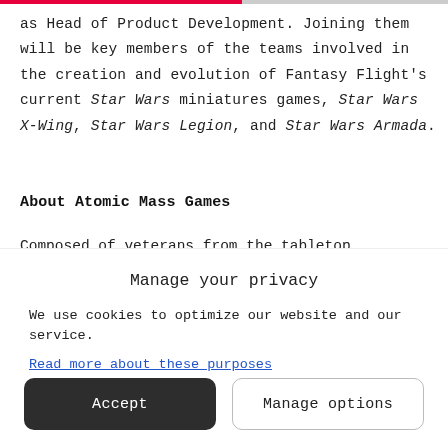as Head of Product Development. Joining them will be key members of the teams involved in the creation and evolution of Fantasy Flight's current Star Wars miniatures games, Star Wars X-Wing, Star Wars Legion, and Star Wars Armada.
About Atomic Mass Games
Composed of veterans from the tabletop miniatures games
Manage your privacy
We use cookies to optimize our website and our service.
Read more about these purposes
Accept
Manage options